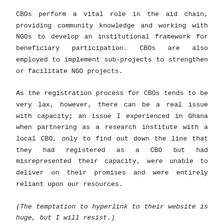CBOs perform a vital role in the aid chain, providing community knowledge and working with NGOs to develop an institutional framework for beneficiary participation. CBOs are also employed to implement sub-projects to strengthen or facilitate NGO projects.
As the registration process for CBOs tends to be very lax, however, there can be a real issue with capacity; an issue I experienced in Ghana when partnering as a research institute with a local CBO, only to find out down the line that they had registered as a CBO but had misrepresented their capacity, were unable to deliver on their promises and were entirely reliant upon our resources.
(The temptation to hyperlink to their website is huge, but I will resist.)